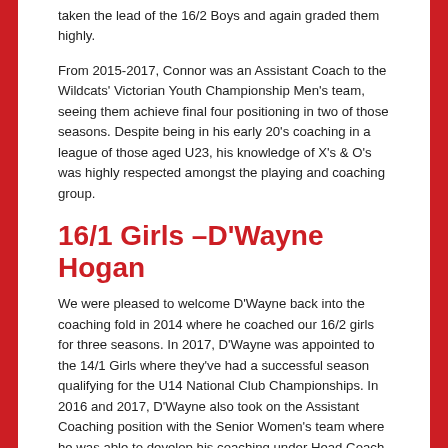taken the lead of the 16/2 Boys and again graded them highly.
From 2015-2017, Connor was an Assistant Coach to the Wildcats' Victorian Youth Championship Men's team, seeing them achieve final four positioning in two of those seasons. Despite being in his early 20's coaching in a league of those aged U23, his knowledge of X's & O's was highly respected amongst the playing and coaching group.
16/1 Girls –D'Wayne Hogan
We were pleased to welcome D'Wayne back into the coaching fold in 2014 where he coached our 16/2 girls for three seasons. In 2017, D'Wayne was appointed to the 14/1 Girls where they've had a successful season qualifying for the U14 National Club Championships. In 2016 and 2017, D'Wayne also took on the Assistant Coaching position with the Senior Women's team where he was able to develop his coaching under Head Coach Katrina Hibbert. In 2017, D'Wayne was appointed an Assistant Coach for the Southern Cross Challenge U15 Girls.
However, D'Wayne's coaching background goes back further than that. From 1992-2001, he was Head Coach of a variety of boys and girls teams ranging from U14-U18 including multiple VC teams.
With extensive experience in coaching high level teenage athletes,